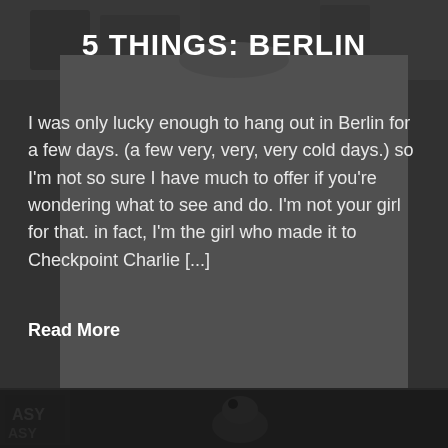[Figure (photo): Background photo of a white t-shirt reading 'I'M HAVING AN AFFAIR WITH BERLIN' hanging on a rack, with street stall items visible in the lower portion, dark overlay applied.]
5 THINGS: BERLIN
I was only lucky enough to hang out in Berlin for a few days. (a few very, very, very cold days.) so I'm not so sure I have much to offer if you're wondering what to see and do. I'm not your girl for that. in fact, I'm the girl who made it to Checkpoint Charlie [...]
Read More